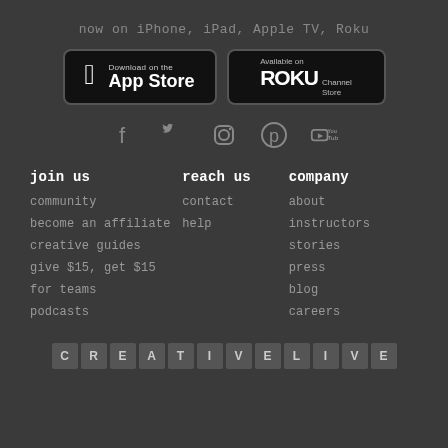now on iPhone, iPad, Apple TV, Roku
[Figure (logo): Download on the App Store button (black, rounded rectangle)]
[Figure (logo): Available on Roku Channel Store button (black, rounded rectangle)]
[Figure (infographic): Social media icons: Facebook, Twitter, Instagram, Pinterest, YouTube]
join us
community
become an affiliate
creative guides
give $15, get $15
for teams
podcasts
reach us
contact
help
company
about
instructors
stories
press
blog
careers
[Figure (logo): CreativeLive logo spelled out in individual letter tiles: C R E A T I V E L I V E]